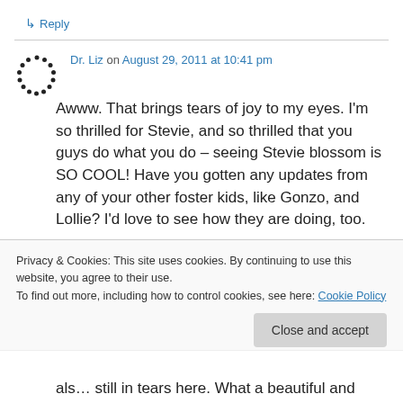↳ Reply
Dr. Liz on August 29, 2011 at 10:41 pm
Awww. That brings tears of joy to my eyes. I'm so thrilled for Stevie, and so thrilled that you guys do what you do – seeing Stevie blossom is SO COOL! Have you gotten any updates from any of your other foster kids, like Gonzo, and Lollie? I'd love to see how they are doing, too.
Privacy & Cookies: This site uses cookies. By continuing to use this website, you agree to their use. To find out more, including how to control cookies, see here: Cookie Policy
Close and accept
als… still in tears here. What a beautiful and